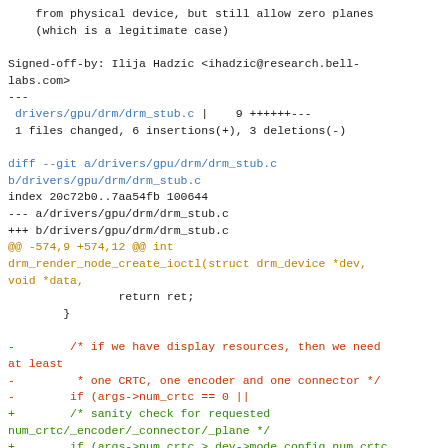from physical device, but still allow zero planes
    (which is a legitimate case)

Signed-off-by: Ilija Hadzic <ihadzic@research.bell-labs.com>
---
 drivers/gpu/drm/drm_stub.c |    9 ++++++---
 1 files changed, 6 insertions(+), 3 deletions(-)

diff --git a/drivers/gpu/drm/drm_stub.c
b/drivers/gpu/drm/drm_stub.c
index 20c72b0..7aa54fb 100644
--- a/drivers/gpu/drm/drm_stub.c
+++ b/drivers/gpu/drm/drm_stub.c
@@ -574,9 +574,12 @@ int drm_render_node_create_ioctl(struct drm_device *dev, void *data,
                return ret;
        }

-        /* if we have display resources, then we need at least
-         * one CRTC, one encoder and one connector */
-        if (args->num_crtc == 0 ||
+        /* sanity check for requested num_crtc/_encoder/_connector/_plane */
+        if (args->num_crtc > dev->mode_config.num_crtc ||
+            args->num_encoder > dev->mode_config.num_encoder ||